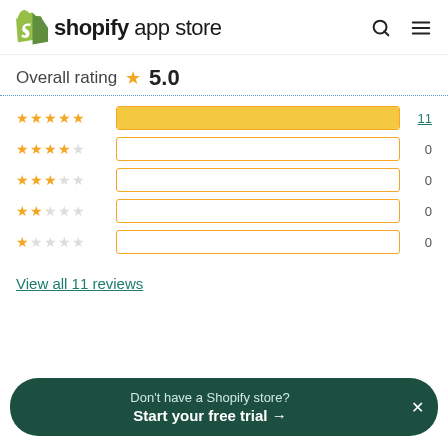[Figure (logo): Shopify App Store logo with green shopping bag icon and text 'shopify app store' and search/menu icons]
Overall rating ★ 5.0
[Figure (bar-chart): Rating distribution]
View all 11 reviews
Don't have a Shopify store? Start your free trial →